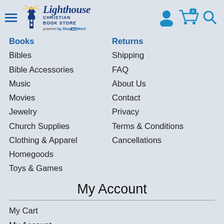[Figure (logo): Lighthouse Christian Book Store logo with lighthouse icon and 'powered by ShopTheWord' text]
[Figure (infographic): User account icon, shopping cart icon with 0 badge, and search icon in blue]
Books
Returns
Bibles
Shipping
Bible Accessories
FAQ
Music
About Us
Movies
Contact
Jewelry
Privacy
Church Supplies
Terms & Conditions
Clothing & Apparel
Cancellations
Homegoods
Toys & Games
My Account
My Cart
My Account
My Orders
Forgot Password